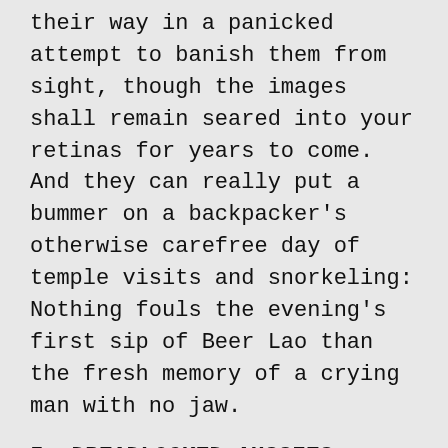their way in a panicked attempt to banish them from sight, though the images shall remain seared into your retinas for years to come. And they can really put a bummer on a backpacker's otherwise carefree day of temple visits and snorkeling: Nothing fouls the evening's first sip of Beer Lao than the fresh memory of a crying man with no jaw.
5. DREADLOCKED AUSSIES
I like Australians in very low doses.  They're a fun, slightly rowdy people and usually know how to enjoy themselves. Aussies are full of